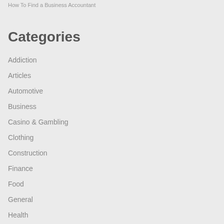How To Find a Business Accountant
Categories
Addiction
Articles
Automotive
Business
Casino & Gambling
Clothing
Construction
Finance
Food
General
Health
Hosting